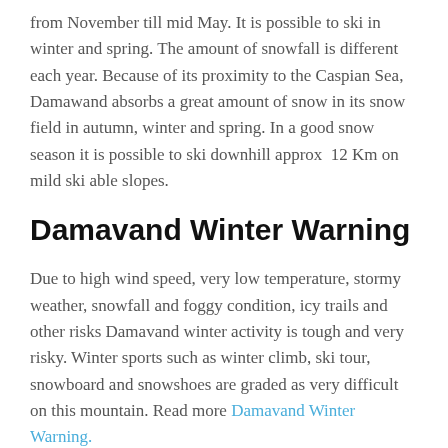from November till mid May. It is possible to ski in winter and spring. The amount of snowfall is different each year. Because of its proximity to the Caspian Sea, Damawand absorbs a great amount of snow in its snow field in autumn, winter and spring. In a good snow season it is possible to ski downhill approx  12 Km on mild ski able slopes.
Damavand Winter Warning
Due to high wind speed, very low temperature, stormy weather, snowfall and foggy condition, icy trails and other risks Damavand winter activity is tough and very risky. Winter sports such as winter climb, ski tour, snowboard and snowshoes are graded as very difficult on this mountain. Read more Damavand Winter Warning.
Damavand Trekking Tour 2019